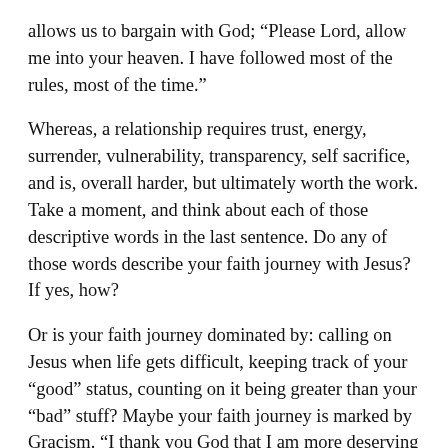allows us to bargain with God; “Please Lord, allow me into your heaven. I have followed most of the rules, most of the time.”
Whereas, a relationship requires trust, energy, surrender, vulnerability, transparency, self sacrifice, and is, overall harder, but ultimately worth the work. Take a moment, and think about each of those descriptive words in the last sentence. Do any of those words describe your faith journey with Jesus? If yes, how?
Or is your faith journey dominated by: calling on Jesus when life gets difficult, keeping track of your “good” status, counting on it being greater than your “bad” stuff? Maybe your faith journey is marked by Gracism. “I thank you God that I am more deserving of your grace than the person who…hurt me, did this, did that, doesn’t live how I think they should, etc.”
I have the privilege of being on a faith journey with some other